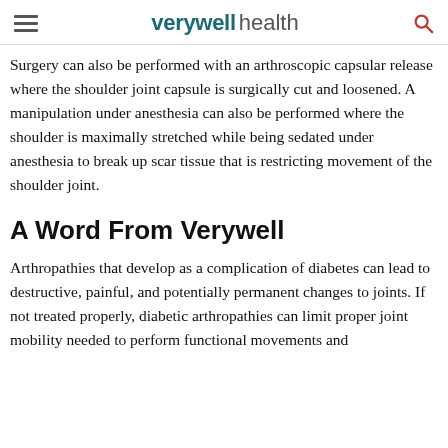verywell health
Surgery can also be performed with an arthroscopic capsular release where the shoulder joint capsule is surgically cut and loosened. A manipulation under anesthesia can also be performed where the shoulder is maximally stretched while being sedated under anesthesia to break up scar tissue that is restricting movement of the shoulder joint.
A Word From Verywell
Arthropathies that develop as a complication of diabetes can lead to destructive, painful, and potentially permanent changes to joints. If not treated properly, diabetic arthropathies can limit proper joint mobility needed to perform functional movements and